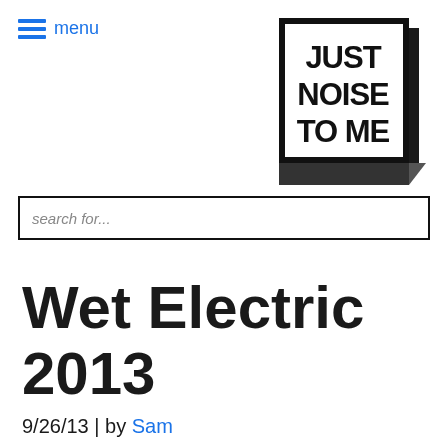≡ menu
[Figure (logo): Just Noise To Me logo — bold black rectangle with white text reading JUST NOISE TO ME, with a folded corner effect giving a 3D book/card appearance]
search for...
Wet Electric 2013
9/26/13 | by Sam